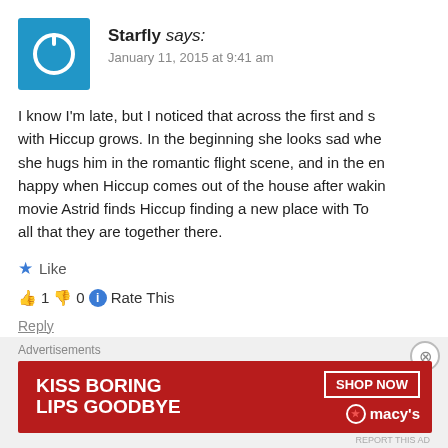[Figure (illustration): Blue square avatar icon with white power/circle symbol]
Starfly says:
January 11, 2015 at 9:41 am
I know I'm late, but I noticed that across the first and se with Hiccup grows. In the beginning she looks sad whe she hugs him in the romantic flight scene, and in the en happy when Hiccup comes out of the house after wakin movie Astrid finds Hiccup finding a new place with To all that they are together there.
★ Like
👍 1 👎 0 ℹ Rate This
Reply
Advertisements
[Figure (illustration): Macy's advertisement banner: KISS BORING LIPS GOODBYE with SHOP NOW button and Macy's star logo]